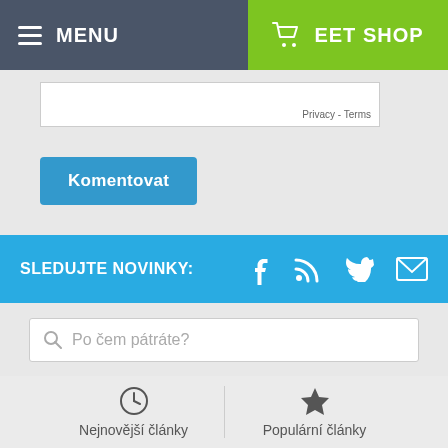MENU | EET SHOP
Privacy - Terms
Komentovat
SLEDUJTE NOVINKY:
Po čem pátráte?
Nejnovější články
Populární články